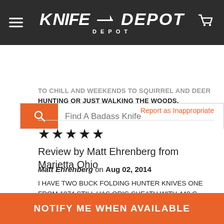[Figure (logo): Knife Depot logo on dark header with hamburger menu and cart icon]
[Figure (screenshot): Search bar with orange icon and placeholder text 'Find A Badass Knife']
...OR JUST WALKING THE WOODS.
Report as Inappropriate
★★★★★
Review by Matt Ehrenberg from Marietta Ohio
Matt Ehrenberg on Aug 02, 2014
I HAVE TWO BUCK FOLDING HUNTER KNIVES ONE FROM 1974 STILL HAS ORIG SHEATH WITH 440 C STEEL. IN 1999 I TRADED A NEW 110 TO GET A FRIEND'S OLDER 110 WITH 440C STEEL. I HAVE USED THE OLD 70'S 110 SINCE I S... TO FIELD DR... -EVERL...
NOTIFY ME WHEN AVAILABLE